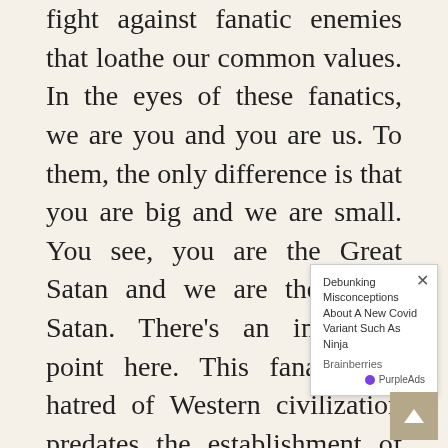fight against fanatic enemies that loathe our common values. In the eyes of these fanatics, we are you and you are us. To them, the only difference is that you are big and we are small. You see, you are the Great Satan and we are the Small Satan. There's an important point here. This fanaticism's hatred of Western civilization predates the establishment of modern Israel by a thousand years. Militant Islam does not hate the West because of Israel. It hates Israel because of the West – because it sees Israel as a… demo… from… That is why when Israel stands
[Figure (other): Advertisement overlay: 'Debunking Misconceptions About A New Covid Variant Such As Ninja' by Brainberries, with PurpleAds badge and close button]